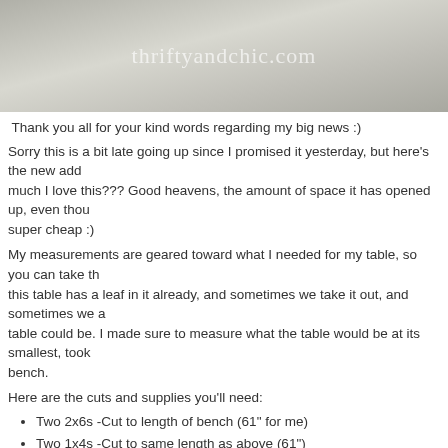[Figure (photo): Photo of a white table/bench with a watermark reading thriftyandchic.com]
Thank you all for your kind words regarding my big news :)
Sorry this is a bit late going up since I promised it yesterday, but here's the new add... much I love this??? Good heavens, the amount of space it has opened up, even thou... super cheap :)
My measurements are geared toward what I needed for my table, so you can take th... this table has a leaf in it already, and sometimes we take it out, and sometimes we a... table could be. I made sure to measure what the table would be at its smallest, took ... bench.
Here are the cuts and supplies you'll need:
Two 2x6s -Cut to length of bench (61" for me)
Two 1x4s -Cut to same length as above (61")
Four 2x6s -Cut to 17" (Normal height of a bench is 18", I cut mine short 1 i...
Two 2x2s -Cut to width of two 2x6s together. Each 2x6 is really about 5.5 i... measure your 2x6 width though because some are off a little by a centimete...
Two 2x2s -Cut to 3.5 inches long.
Wood glue